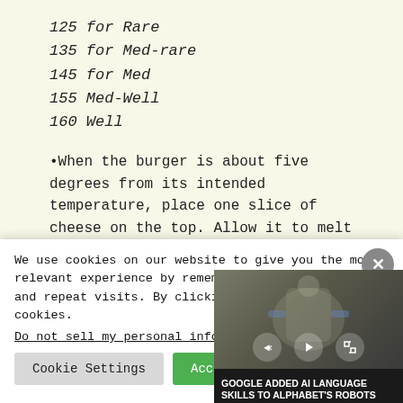125 for Rare
135 for Med-rare
145 for Med
155 Med-Well
160 Well
•When the burger is about five degrees from its intended temperature, place one slice of cheese on the top. Allow it to melt and cover both sides.
•Remove burgers from the grill. Place on a bun with
We use cookies on our website to give you the most relevant experience by remembering your preferences and repeat visits. By clicking "Acc... of ALL the cookies.
Do not sell my personal inform...
Cookie Settings
Accept
[Figure (screenshot): Video player overlay showing a robot image with playback controls and caption: GOOGLE ADDED AI LANGUAGE SKILLS TO ALPHABET'S ROBOTS]